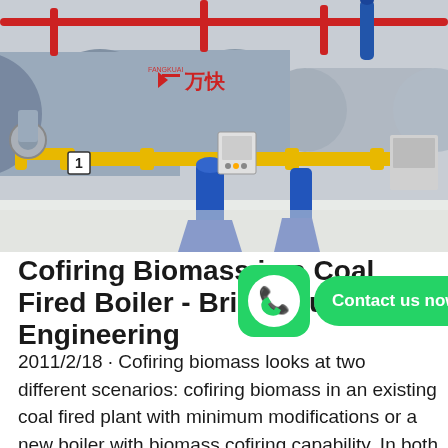[Figure (photo): Industrial boiler room with multiple large horizontal gray cylindrical boilers, yellow and red piping, blue vertical pipes at base. Chinese text on boiler reading 万快 with Fangkuai brand logo. Numbered tag '1' on left boiler.]
Cofiring Biomass in a Coal Fired Boiler - Bright Hub Engineering
2011/2/18 · Cofiring biomass looks at two different scenarios: cofiring biomass in an existing coal fired plant with minimum modifications or a new boiler with biomass cofiring capability. In both cases some fundamental issu